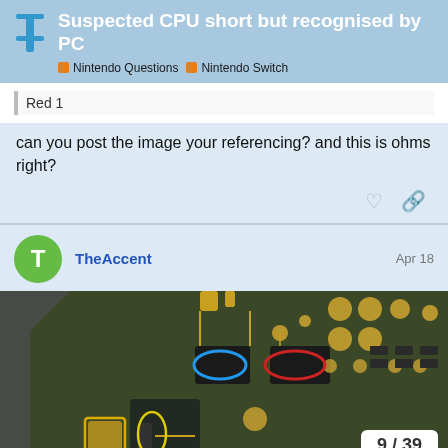Suspected CPU short but recognised by PC | Nintendo Questions | Nintendo Switch
Red 1
can you post the image your referencing? and this is ohms right?
TheAccent   Apr 18
[Figure (photo): Close-up photo of a circuit board (Nintendo Switch motherboard) with colored oval annotations: a blue oval highlighting one component, a red oval highlighting another component, and a yellow oval near the bottom highlighting a third component. The board has green PCB traces, gold pads, and various SMD components visible.]
9 / 39